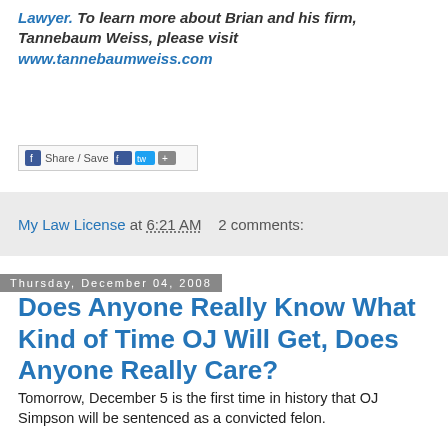Lawyer. To learn more about Brian and his firm, Tannebaum Weiss, please visit www.tannebaumweiss.com
[Figure (other): Share/Save social sharing button bar with Facebook, Twitter and other icons]
My Law License at 6:21 AM  2 comments:
Thursday, December 04, 2008
Does Anyone Really Know What Kind of Time OJ Will Get, Does Anyone Really Care?
Tomorrow, December 5 is the first time in history that OJ Simpson will be sentenced as a convicted felon.
I hear crickets.
Remember OJ? The football player, NBC commentator, subject of the most highly publicized California highway